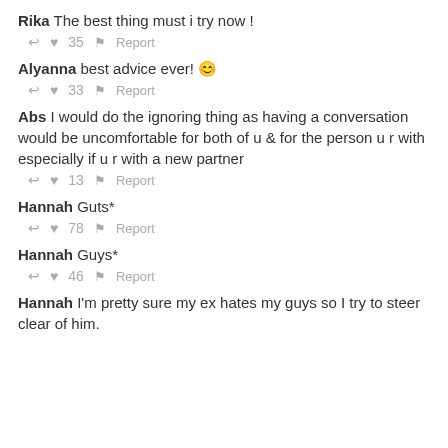Rika The best thing must i try now !
↩ ♥ 35 ⚑ Report
Alyanna best advice ever! 😊
↩ ♥ 33 ⚑ Report
Abs I would do the ignoring thing as having a conversation would be uncomfortable for both of u & for the person u r with especially if u r with a new partner
↩ ♥ 13 ⚑ Report
Hannah Guts*
↩ ♥ 78 ⚑ Report
Hannah Guys*
↩ ♥ 46 ⚑ Report
Hannah I'm pretty sure my ex hates my guys so I try to steer clear of him.